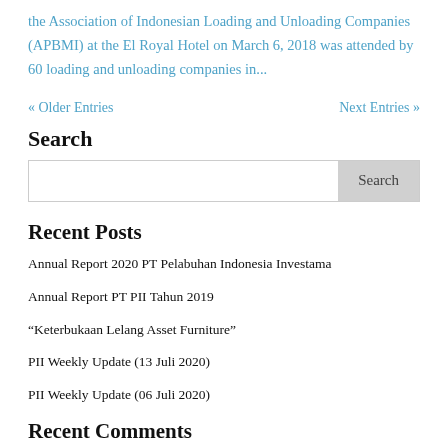the Association of Indonesian Loading and Unloading Companies (APBMI) at the El Royal Hotel on March 6, 2018 was attended by 60 loading and unloading companies in...
« Older Entries
Next Entries »
Search
Recent Posts
Annual Report 2020 PT Pelabuhan Indonesia Investama
Annual Report PT PII Tahun 2019
“Keterbukaan Lelang Asset Furniture”
PII Weekly Update (13 Juli 2020)
PII Weekly Update (06 Juli 2020)
Recent Comments